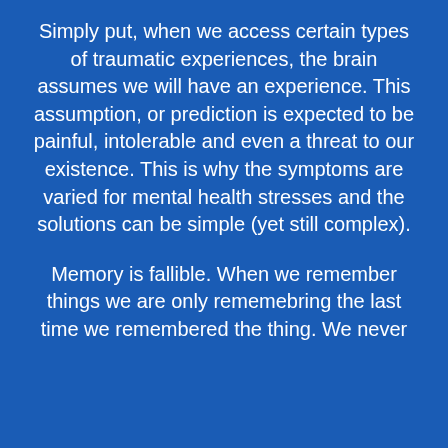Simply put, when we access certain types of traumatic experiences, the brain assumes we will have an experience. This assumption, or prediction is expected to be painful, intolerable and even a threat to our existence. This is why the symptoms are varied for mental health stresses and the solutions can be simple (yet still complex).
Memory is fallible. When we remember things we are only rememebring the last time we remembered the thing. We never